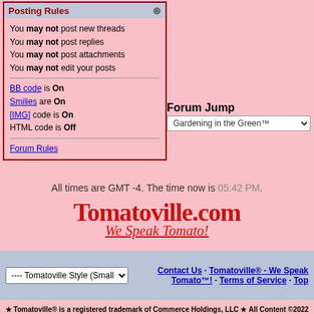Posting Rules
You may not post new threads
You may not post replies
You may not post attachments
You may not edit your posts
BB code is On
Smilies are On
[IMG] code is On
HTML code is Off
Forum Rules
Forum Jump
Gardening in the Green™
All times are GMT -4. The time now is 05:42 PM.
[Figure (logo): Tomatoville.com logo with tagline 'We Speak Tomato!']
Contact Us · Tomatoville® - We Speak Tomato™! · Terms of Service · Top
★ Tomatoville® is a registered trademark of Commerce Holdings, LLC ★ All Content ©2022 Commerce Holdings, LLC ★